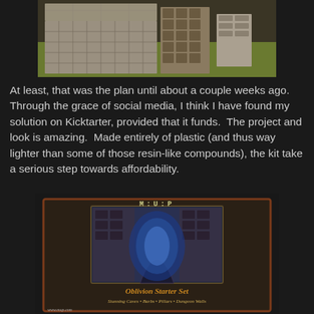[Figure (photo): Photo of terrain/dungeon tile miniature gaming pieces arranged on a green surface, showing interlocking stone-textured modular tiles and wall pieces]
At least, that was the plan until about a couple weeks ago. Through the grace of social media, I think I have found my solution on Kicktarter, provided that it funds.  The project and look is amazing.  Made entirely of plastic (and thus way lighter than some of those resin-like compounds), the kit take a serious step towards affordability.
[Figure (photo): Photo of the M:U:P Oblivion Starter Set box, showing a box with a window revealing dungeon terrain pieces inside, with gothic stone dungeon styling]